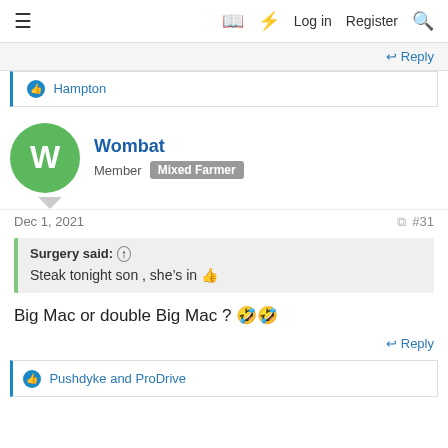≡  □ ⚡ Log in  Register  🔍
↩ Reply
👍 Hampton
Wombat
Member  Mixed Farmer
Dec 1, 2021  #31
Surgery said: ↑
Steak tonight son , she's in 👍
Big Mac or double Big Mac ? 🤣🤣
↩ Reply
👍 Pushdyke and ProDrive